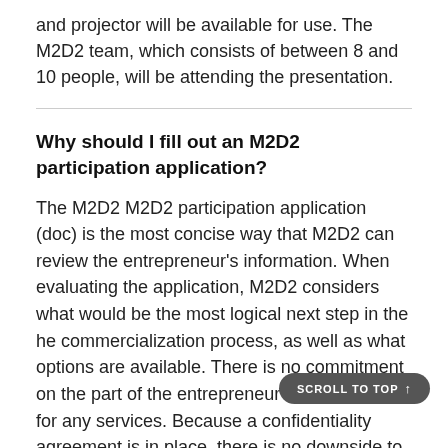and projector will be available for use. The M2D2 team, which consists of between 8 and 10 people, will be attending the presentation.
Why should I fill out an M2D2 participation application?
The M2D2 M2D2 participation application (doc) is the most concise way that M2D2 can review the entrepreneur's information. When evaluating the application, M2D2 considers what would be the most logical next step in the he commercialization process, as well as what options are available. There is no commitment on the part of the entrepreneur to hire M2D2 for any services. Because a confidentiality agreement is in place, there is no downside to receiving a consultation.